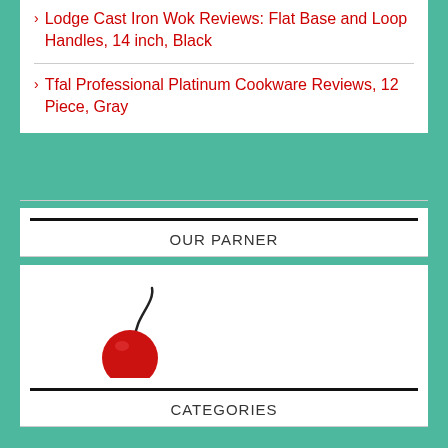Lodge Cast Iron Wok Reviews: Flat Base and Loop Handles, 14 inch, Black
Tfal Professional Platinum Cookware Reviews, 12 Piece, Gray
OUR PARNER
[Figure (illustration): A simple cherry illustration with a red round fruit and a dark curved stem]
CATEGORIES